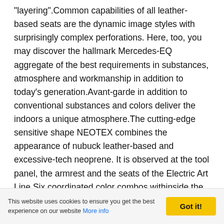"layering".Common capabilities of all leather-based seats are the dynamic image styles with surprisingly complex perforations. Here, too, you may discover the hallmark Mercedes-EQ aggregate of the best requirements in substances, atmosphere and workmanship in addition to today's generation.Avant-garde in addition to conventional substances and colors deliver the indoors a unique atmosphere.The cutting-edge sensitive shape NEOTEX combines the appearance of nubuck leather-based and excessive-tech neoprene. It is observed at the tool panel, the armrest and the seats of the Electric Art Line.Six coordinated color combos withinside the indoors emphasise the beneficiant feeling of area. The EQE is immersed in a revolutionary and pricey color scheme of heat and funky tones. Colours inclusive of holo...
This website uses cookies to ensure you get the best experience on our website More info